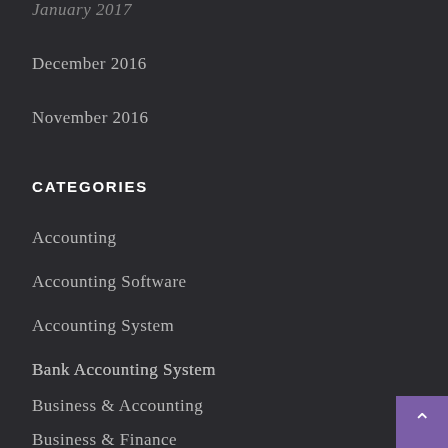January 2017
December 2016
November 2016
CATEGORIES
Accounting
Accounting Software
Accounting System
Bank Accounting System
Business & Accounting
Business & Finance